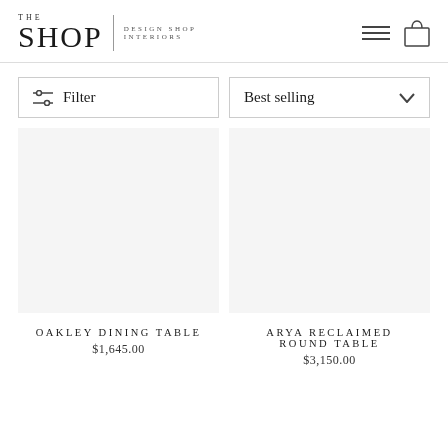THE SHOP | DESIGN SHOP INTERIORS
Filter
Best selling
OAKLEY DINING TABLE
$1,645.00
ARYA RECLAIMED ROUND TABLE
$3,150.00